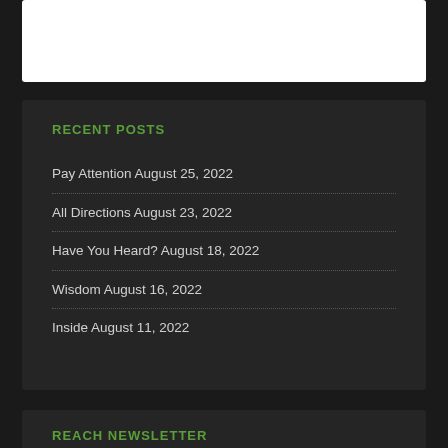RECENT POSTS
Pay Attention August 25, 2022
All Directions August 23, 2022
Have You Heard? August 18, 2022
Wisdom August 16, 2022
Inside August 11, 2022
REACH NEWSLETTER